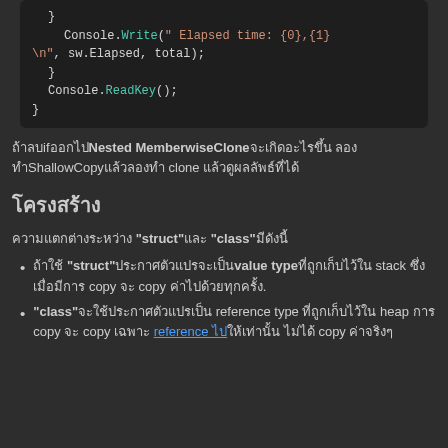[Figure (screenshot): Dark-themed code editor showing C# code snippet with Console.Write for elapsed time, closing braces, and Console.ReadKey()]
ถ้าลบ if ออกไป Nested MemberwiseClone จะเกิดอะไรขึ้น ลองทำ ShallowCopy แล้วลองทำ clone แล้วดูผลลัพธ์ที่ได้
โครงสร้าง
ความแตกต่างระหว่าง "struct" และ "class" มีดังนี้
ถ้าใช้ "struct" ประกาศตัวแปรจะเป็น value type ที่ถูกเก็บไว้ใน stack ซึ่งเมื่อมีการ copy จะ copy ค่าไปด้วยทุกครั้ง.
"class" จะใช้ประกาศตัวแปรเป็น reference type ที่ถูกเก็บไว้ใน heap การ copy จะ copy เฉพาะ reference ไปให้เท่านั้น ไม่ได้ copy ค่าจริงๆ